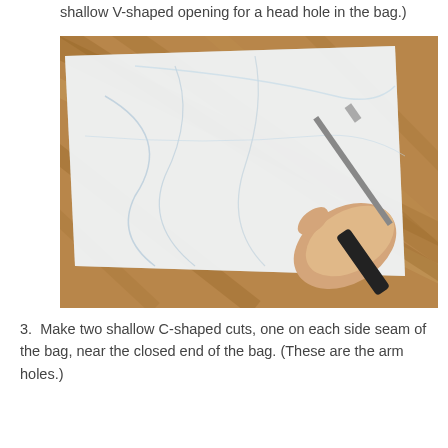shallow V-shaped opening for a head hole in the bag.)
[Figure (photo): A person's hand holding scissors cutting into the corner of a large clear plastic bag laid flat on a wooden floor.]
3. Make two shallow C-shaped cuts, one on each side seam of the bag, near the closed end of the bag. (These are the arm holes.)